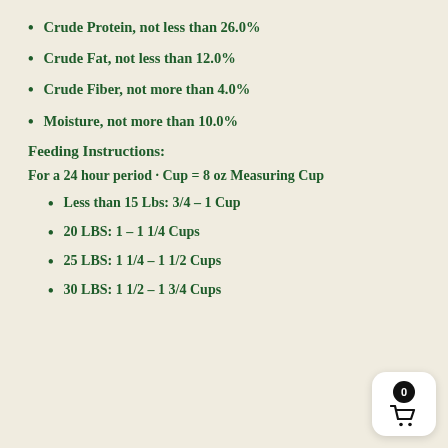Crude Protein, not less than 26.0%
Crude Fat, not less than 12.0%
Crude Fiber, not more than 4.0%
Moisture, not more than 10.0%
Feeding Instructions:
For a 24 hour period · Cup = 8 oz Measuring Cup
Less than 15 Lbs: 3/4 – 1 Cup
20 LBS: 1 – 1 1/4 Cups
25 LBS: 1 1/4 – 1 1/2 Cups
30 LBS: 1 1/2 – 1 3/4 Cups
[Figure (illustration): Shopping cart button with badge showing 0]